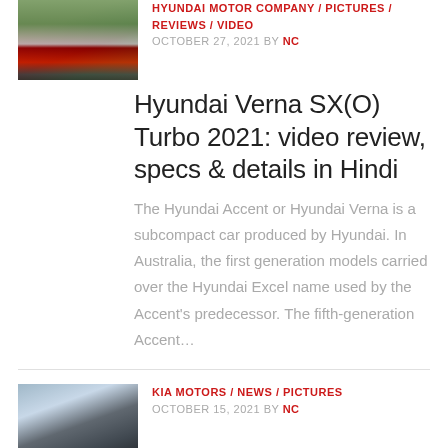[Figure (photo): Red Hyundai Verna car thumbnail image]
HYUNDAI MOTOR COMPANY / PICTURES / REVIEWS / VIDEO
OCTOBER 27, 2021 BY NC
Hyundai Verna SX(O) Turbo 2021: video review, specs & details in Hindi
The Hyundai Accent or Hyundai Verna is a subcompact car produced by Hyundai. In Australia, the first generation models carried over the Hyundai Excel name used by the Accent’s predecessor. The fifth-generation Accent…
[Figure (photo): Dark Kia SUV car thumbnail image]
KIA MOTORS / NEWS / PICTURES
OCTOBER 15, 2021 BY NC